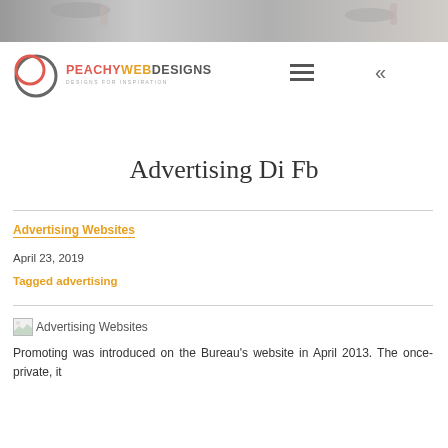[Figure (photo): Top photo strip showing hands in a business/design context]
[Figure (logo): Peach Web Designs logo with two overlapping circles and text PEACHY WEB DESIGNS, DESIGNS FOR INSPIRATION]
Advertising Di Fb
Advertising Websites
April 23, 2019
Tagged advertising
[Figure (photo): Advertising Websites image placeholder]
Promoting was introduced on the Bureau's website in April 2013. The once-private, it...